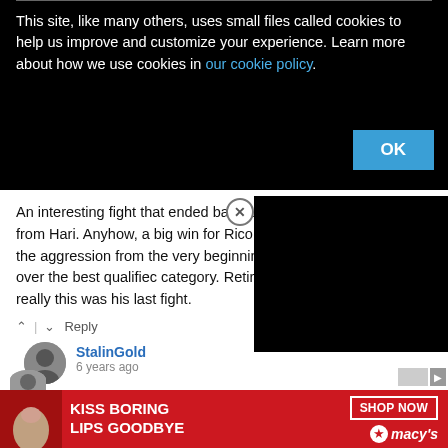This site, like many others, uses small files called cookies to help us improve and customize your experience. Learn more about how we use cookies in our cookie policy.
OK
An interesting fight that ended bad due to a potential broken arm from Hari. Anyhow, a big win for Rico since he did well going for the aggression from the very beginning and getting this victory over the best qualified category. Retirement for Hari probably means that really this was his last fight.
Reply
StalinGold
6 years ago
Did he break his arm? what happened there exactly?
Reply
CLOSE
[Figure (screenshot): Advertisement banner: KISS BORING LIPS GOODBYE with SHOP NOW button and macys logo]